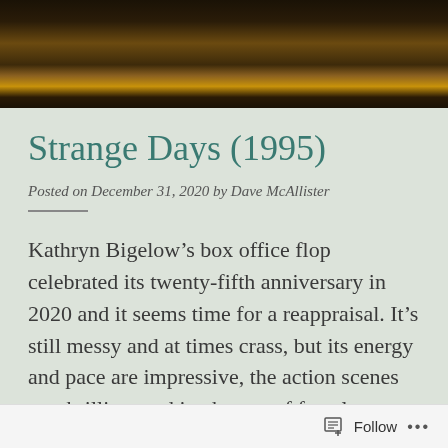[Figure (photo): Close-up photo of a person with yellow/orange garment, dark background]
Strange Days (1995)
Posted on December 31, 2020 by Dave McAllister
Kathryn Bigelow’s box office flop celebrated its twenty-fifth anniversary in 2020 and it seems time for a reappraisal. It’s still messy and at times crass, but its energy and pace are impressive, the action scenes are thrilling, and its themes of female empowerment and racial
Follow ...